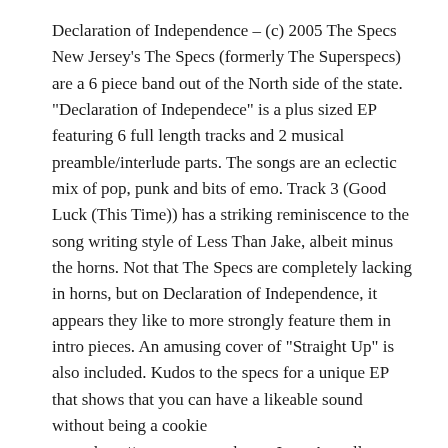Declaration of Independence – (c) 2005 The Specs New Jersey's The Specs (formerly The Superspecs) are a 6 piece band out of the North side of the state. "Declaration of Independece" is a plus sized EP featuring 6 full length tracks and 2 musical preamble/interlude parts. The songs are an eclectic mix of pop, punk and bits of emo. Track 3 (Good Luck (This Time)) has a striking reminiscence to the song writing style of Less Than Jake, albeit minus the horns. Not that The Specs are completely lacking in horns, but on Declaration of Independence, it appears they like to more strongly feature them in intro pieces. An amusing cover of "Straight Up" is also included. Kudos to the specs for a unique EP that shows that you can have a likeable sound without being a cookie cutter.http://www.specsrock.comJerry Actually